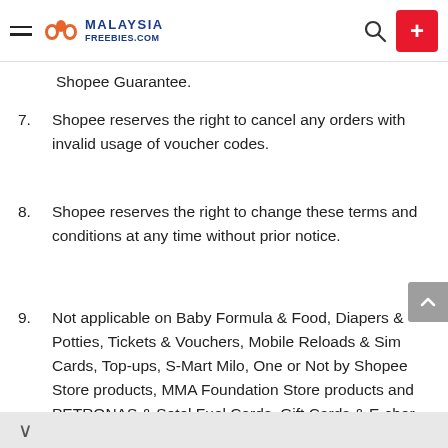Malaysia Freebies .com — navigation header
Shopee Guarantee.
7. Shopee reserves the right to cancel any orders with invalid usage of voucher codes.
8. Shopee reserves the right to change these terms and conditions at any time without prior notice.
9. Not applicable on Baby Formula & Food, Diapers & Potties, Tickets & Vouchers, Mobile Reloads & Sim Cards, Top-ups, S-Mart Milo, One or Not by Shopee Store products, MMA Foundation Store products and PETRONAS & Setel Fuel Cards, Gift Cards & E-cher.